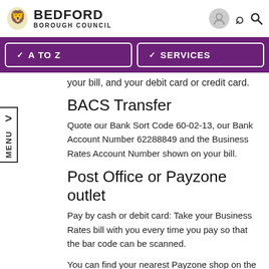BEDFORD BOROUGH COUNCIL
your bill, and your debit card or credit card.
BACS Transfer
Quote our Bank Sort Code 60-02-13, our Bank Account Number 62288849 and the Business Rates Account Number shown on your bill.
Post Office or Payzone outlet
Pay by cash or debit card: Take your Business Rates bill with you every time you pay so that the bar code can be scanned.
You can find your nearest Payzone shop on the Payzone website.